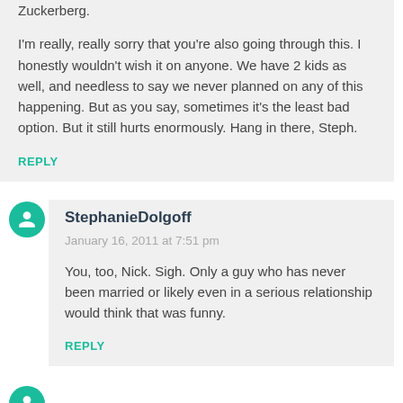Zuckerberg.
I'm really, really sorry that you're also going through this. I honestly wouldn't wish it on anyone. We have 2 kids as well, and needless to say we never planned on any of this happening. But as you say, sometimes it's the least bad option. But it still hurts enormously. Hang in there, Steph.
REPLY
StephanieDolgoff
January 16, 2011 at 7:51 pm
You, too, Nick. Sigh. Only a guy who has never been married or likely even in a serious relationship would think that was funny.
REPLY